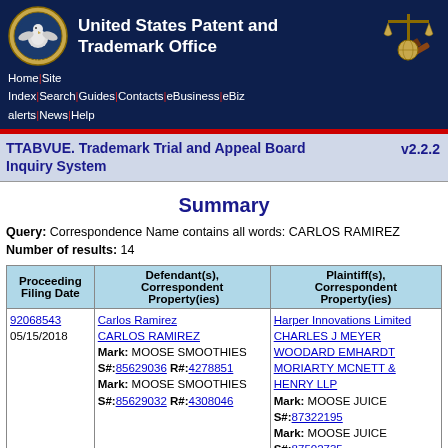United States Patent and Trademark Office
Query: Correspondence Name contains all words: CARLOS RAMIREZ
Number of results: 14
Summary
| Proceeding Filing Date | Defendant(s), Correspondent Property(ies) | Plaintiff(s), Correspondent Property(ies) |
| --- | --- | --- |
| 92068543
05/15/2018 | Carlos Ramirez
CARLOS RAMIREZ
Mark: MOOSE SMOOTHIES
S#:85629036 R#:4278851
Mark: MOOSE SMOOTHIES
S#:85629032 R#:4308046 | Harper Innovations Limited
CHARLES J MEYER
WOODARD EMHARDT
MORIARTY MCNETT & HENRY LLP
Mark: MOOSE JUICE
S#:87322195
Mark: MOOSE JUICE
S#:87502735
Mark: MUSCLE MOOSE |